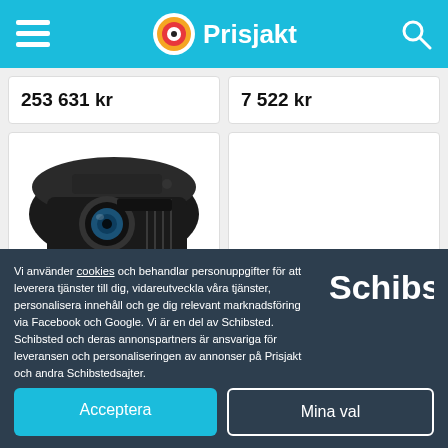Prisjakt
253 631 kr
7 522 kr
[Figure (photo): Black BenQ projector shown from front-left angle on white background]
Vi använder cookies och behandlar personuppgifter för att leverera tjänster till dig, vidareutveckla våra tjänster, personalisera innehåll och ge dig relevant marknadsföring via Facebook och Google. Vi är en del av Schibsted. Schibsted och deras annonspartners är ansvariga för leveransen och personaliseringen av annonser på Prisjakt och andra Schibstedsajter.
[Figure (logo): Schibsted logo in white text on dark background]
Acceptera
Mina val